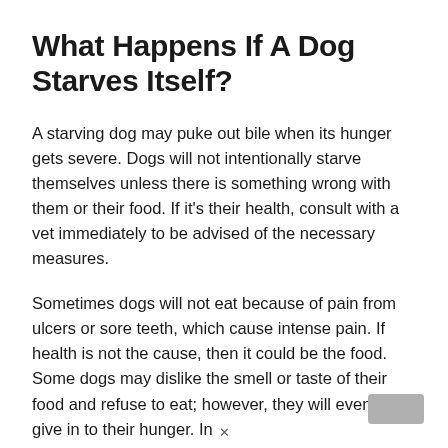What Happens If A Dog Starves Itself?
A starving dog may puke out bile when its hunger gets severe. Dogs will not intentionally starve themselves unless there is something wrong with them or their food. If it's their health, consult with a vet immediately to be advised of the necessary measures.
Sometimes dogs will not eat because of pain from ulcers or sore teeth, which cause intense pain. If health is not the cause, then it could be the food. Some dogs may dislike the smell or taste of their food and refuse to eat; however, they will eventually give in to their hunger. In